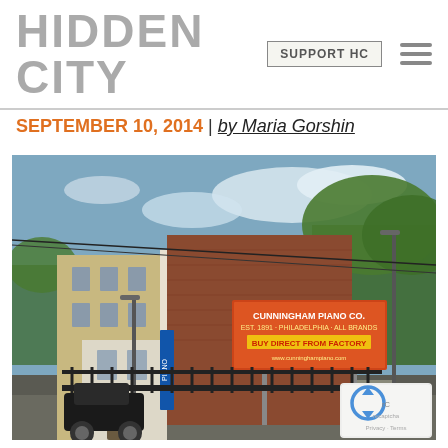HIDDEN CITY | SUPPORT HC
SEPTEMBER 10, 2014 | by Maria Gorshin
[Figure (photo): Exterior street-level photo of the Cunningham Piano Co. building in Philadelphia. A multi-story brick and stucco building with a large mural reading 'Cunningham Piano Co.' with a painted grand piano. A billboard on the adjacent brick building reads 'CUNNINGHAM PIANO CO. BUY DIRECT FROM FACTORY'. Black iron fence in foreground, trees visible in background, blue sky with clouds.]